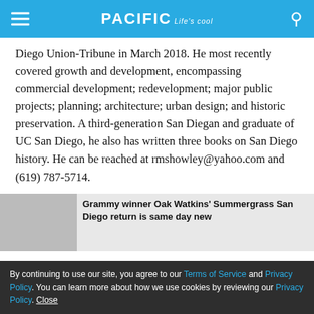PACIFIC Life's cool
Diego Union-Tribune in March 2018. He most recently covered growth and development, encompassing commercial development; redevelopment; major public projects; planning; architecture; urban design; and historic preservation. A third-generation San Diegan and graduate of UC San Diego, he also has written three books on San Diego history. He can be reached at rmshowley@yahoo.com and (619) 787-5714.
MORE ON THE SUBJECT
By continuing to use our site, you agree to our Terms of Service and Privacy Policy. You can learn more about how we use cookies by reviewing our Privacy Policy. Close
Grammy winner Oak Watkins' Summergrass San Diego return is same day new